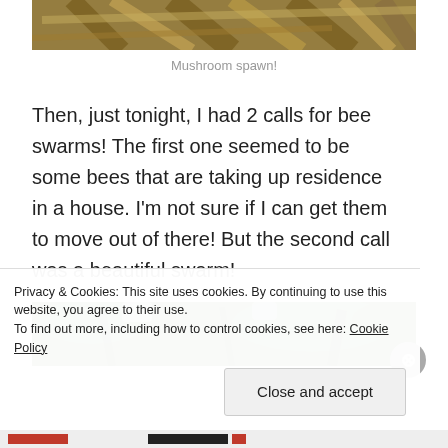[Figure (photo): Partial top of a photo showing wooden beams/straw structure, cut off at top of page]
Mushroom spawn!
Then, just tonight, I had 2 calls for bee swarms! The first one seemed to be some bees that are taking up residence in a house. I'm not sure if I can get them to move out of there! But the second call was a beautiful swarm!
[Figure (photo): Partial bottom photo showing tree branches with green leaves, viewed from below]
Privacy & Cookies: This site uses cookies. By continuing to use this website, you agree to their use.
To find out more, including how to control cookies, see here: Cookie Policy
Close and accept